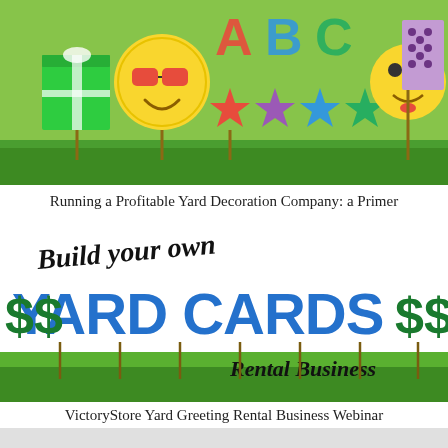[Figure (photo): Yard decoration display on grass with colorful emoji faces, alphabet letters ABC, colorful stars, a gift box, and a purple polka-dot board on green lawn]
Running a Profitable Yard Decoration Company: a Primer
[Figure (photo): Build your own $$YARD CARDS$$ Rental Business promotional image with bold blue and green text on white background with green grass at the bottom]
VictoryStore Yard Greeting Rental Business Webinar
VictoryStore
VictoryStore.com
Sorry, we are offline. Message us.